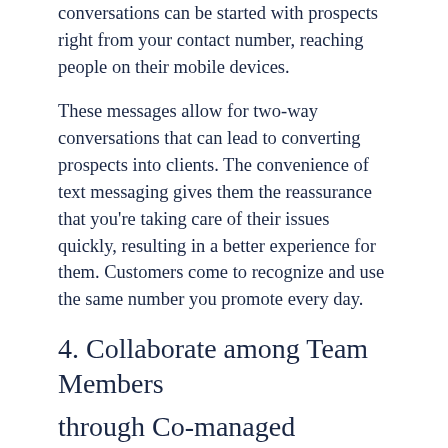conversations can be started with prospects right from your contact number, reaching people on their mobile devices.
These messages allow for two-way conversations that can lead to converting prospects into clients. The convenience of text messaging gives them the reassurance that you're taking care of their issues quickly, resulting in a better experience for them. Customers come to recognize and use the same number you promote every day.
4. Collaborate among Team Members through Co-managed Conversations
A texting platform can also improve collaboration. Staff can text as a team using a multi-user feature and communicate with clients in co-managed